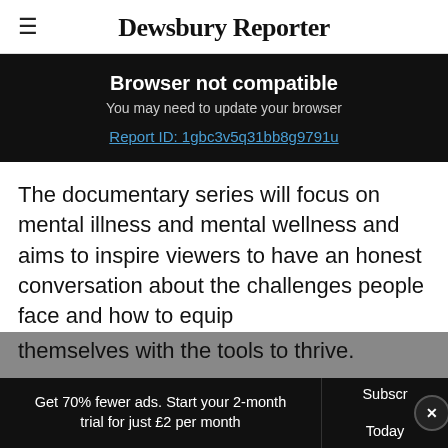Dewsbury Reporter
Browser not compatible
You may need to update your browser
Report ID: 1gbc3v5q31bb8g9791u
The documentary series will focus on mental illness and mental wellness and aims to inspire viewers to have an honest conversation about the challenges people face and how to equip themselves with the tools to thrive.
Get 70% fewer ads. Start your 2-month trial for just £2 per month | Subscribe Today